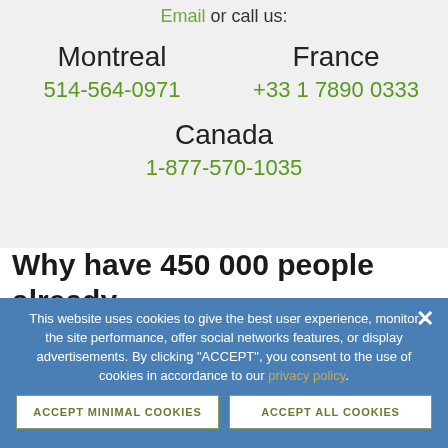Email or call us:
Montreal
514-564-0971
France
+33 1 7890 0333
Canada
1-877-570-1035
Why have 450 000 people already
This website uses cookies to give the best user experience, monitor the site performance, offer social networks features, or display advertisements. By clicking "ACCEPT", you consent to the use of cookies in accordance to our privacy policy.
ACCEPT MINIMAL COOKIES
ACCEPT ALL COOKIES